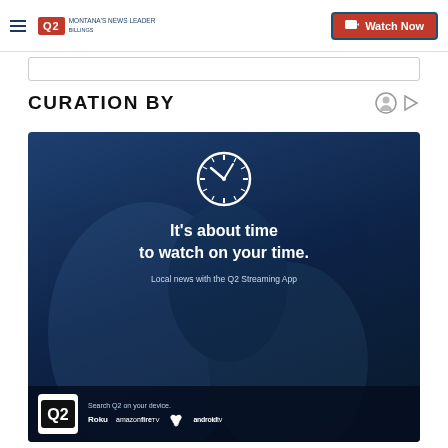Q2 Montana's News Leader | Watch Now
CURATION BY
[Figure (infographic): Q2 streaming app advertisement with dark blue background, clock icon, text 'It's about time to watch on your time. Local news with the Q2 Streaming App', Q2 logo, and platform logos: Roku, amazon fire TV, Apple TV, android tv]